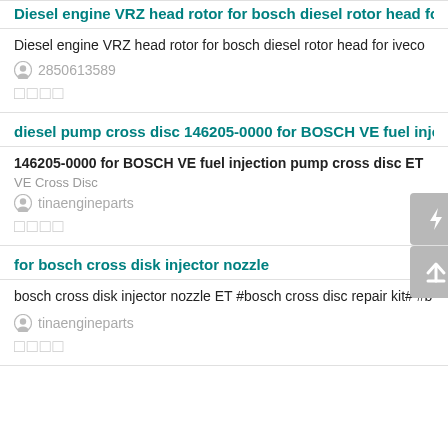Diesel engine VRZ head rotor for bosch diesel rotor head for iv...
Diesel engine VRZ head rotor for bosch diesel rotor head for iveco
2850613589
□□□□
diesel pump cross disc 146205-0000 for BOSCH VE fuel injectio...
146205-0000 for BOSCH VE fuel injection pump cross disc ET
VE Cross Disc
tinaengineparts
□□□□
for bosch cross disk injector nozzle
bosch cross disk injector nozzle ET #bosch cross disc repair kit# #b
tinaengineparts
□□□□